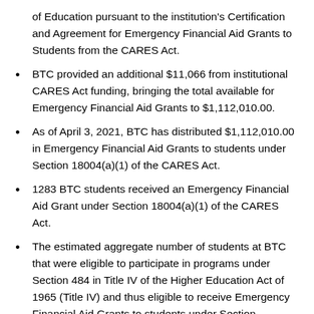of Education pursuant to the institution's Certification and Agreement for Emergency Financial Aid Grants to Students from the CARES Act.
BTC provided an additional $11,066 from institutional CARES Act funding, bringing the total available for Emergency Financial Aid Grants to $1,112,010.00.
As of April 3, 2021, BTC has distributed $1,112,010.00 in Emergency Financial Aid Grants to students under Section 18004(a)(1) of the CARES Act.
1283 BTC students received an Emergency Financial Aid Grant under Section 18004(a)(1) of the CARES Act.
The estimated aggregate number of students at BTC that were eligible to participate in programs under Section 484 in Title IV of the Higher Education Act of 1965 (Title IV) and thus eligible to receive Emergency Financial Aid Grants to students under Section